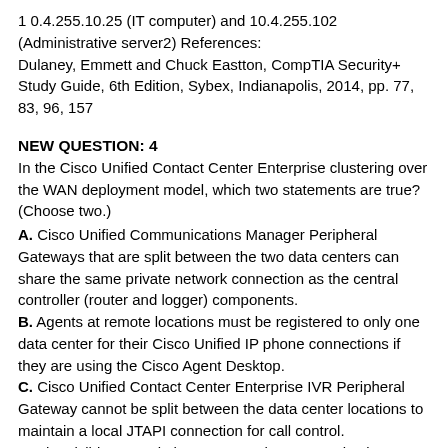1 0.4.255.10.25 (IT computer) and 10.4.255.102 (Administrative server2) References:
Dulaney, Emmett and Chuck Eastton, CompTIA Security+ Study Guide, 6th Edition, Sybex, Indianapolis, 2014, pp. 77, 83, 96, 157
NEW QUESTION: 4
In the Cisco Unified Contact Center Enterprise clustering over the WAN deployment model, which two statements are true? (Choose two.)
A. Cisco Unified Communications Manager Peripheral Gateways that are split between the two data centers can share the same private network connection as the central controller (router and logger) components.
B. Agents at remote locations must be registered to only one data center for their Cisco Unified IP phone connections if they are using the Cisco Agent Desktop.
C. Cisco Unified Contact Center Enterprise IVR Peripheral Gateway cannot be split between the data center locations to maintain a local JTAPI connection for call control.
D. The visible network that supports the communication...